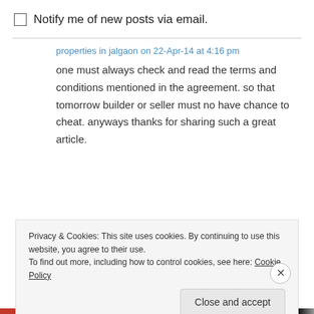Notify me of new posts via email.
properties in jalgaon on 22-Apr-14 at 4:16 pm
one must always check and read the terms and conditions mentioned in the agreement. so that tomorrow builder or seller must no have chance to cheat. anyways thanks for sharing such a great article.
Privacy & Cookies: This site uses cookies. By continuing to use this website, you agree to their use.
To find out more, including how to control cookies, see here: Cookie Policy
Close and accept